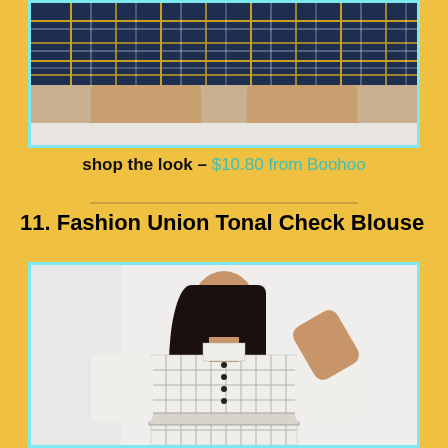[Figure (photo): Cropped photo showing lower body of a person wearing a navy blue plaid/tartan mini skirt against a light background. The plaid pattern has yellow and white lines.]
shop the look  – $10.80 from Boohoo
[Figure (photo): Photo of a dark-haired woman wearing a white/grey tonal check blouse dress with long sleeves, button front, high neck, and tied waist belt. She is posing with one arm raised near her head.]
11. Fashion Union Tonal Check Blouse